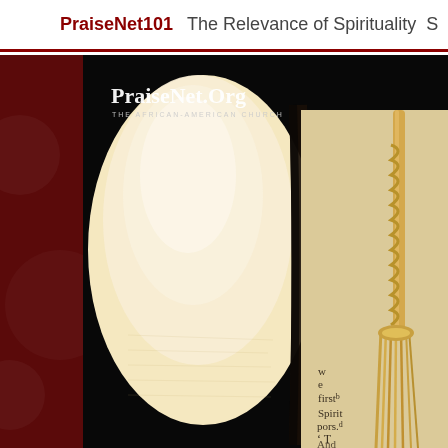PraiseNet101   The Relevance of Spirituality  S
[Figure (photo): Photo of an open Bible with pages illuminated, showing text including words 'first', 'Spirit', 'pors.', 'T', 'And', 'pleasc', with a braided bookmark tassel visible. Overlaid with PraiseNet.Org logo and subtitle 'THE AFRICAN-AMERICAN CHURCH'. Background is dark/black.]